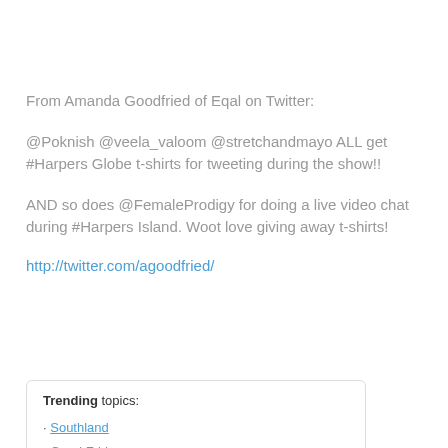From Amanda Goodfried of Eqal on Twitter:
@Poknish @veela_valoom @stretchandmayo ALL get #Harpers Globe t-shirts for tweeting during the show!!
AND so does @FemaleProdigy for doing a live video chat during #Harpers Island. Woot love giving away t-shirts!
http://twitter.com/agoodfried/
| Trending topics: |
| · Southland |
| · Good Friday |
| · #twittercruise |
| · Diddy |
| · Happy Easter |
| · Harpers Island |
| · Krod Mandoon |
| · #pcs |
| · Day 26 |